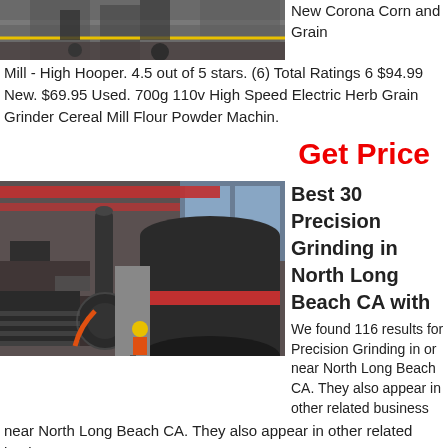[Figure (photo): Industrial machinery photo, partial view at top of page]
New Corona Corn and Grain Mill - High Hooper. 4.5 out of 5 stars. (6) Total Ratings 6 $94.99 New. $69.95 Used. 700g 110v High Speed Electric Herb Grain Grinder Cereal Mill Flour Powder Machin.
Get Price
[Figure (photo): Industrial grinding mill facility interior with large machinery and worker in safety gear]
Best 30 Precision Grinding in North Long Beach CA with
We found 116 results for Precision Grinding in or near North Long Beach CA. They also appear in other related business